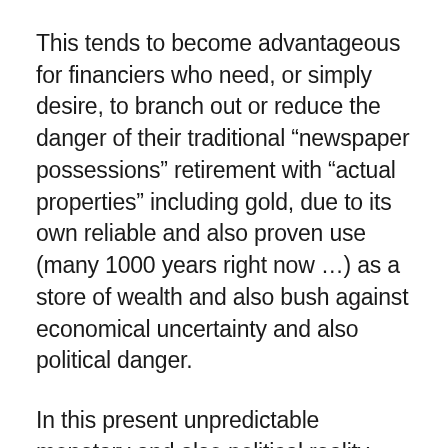This tends to become advantageous for financiers who need, or simply desire, to branch out or reduce the danger of their traditional “newspaper possessions” retirement with “actual properties” including gold, due to its own reliable and also proven use (many 1000 years right now …) as a store of wealth and also bush against economical uncertainty and also political danger.
In this present unpredictable monetary and also political reality that we locate ourselves in now and also going forward, it is actually currently, and please pardon us for being rounded, absolutely compulsory to certainly not remain undiversified with only inventories, connections, stock funds, and